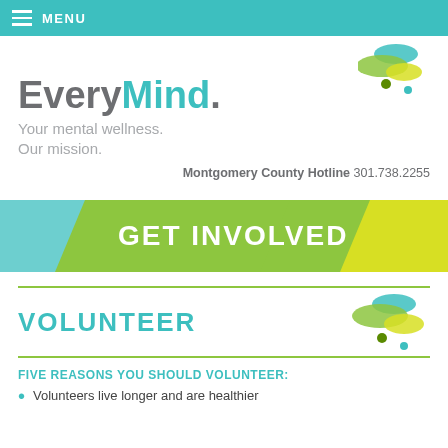MENU
[Figure (logo): EveryMind logo with speech bubble icon. Text: EveryMind. Your mental wellness. Our mission.]
Montgomery County Hotline 301.738.2255
[Figure (infographic): GET INVOLVED banner with teal, green, and yellow-green gradient background]
VOLUNTEER
FIVE REASONS YOU SHOULD VOLUNTEER:
Volunteers live longer and are healthier